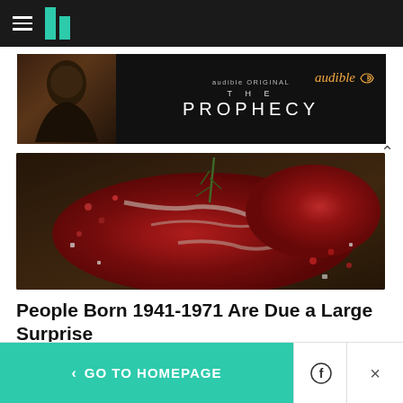HuffPost navigation bar with hamburger menu and logo
[Figure (screenshot): Audible Original 'The Prophecy' advertisement banner with dark background and figure image]
[Figure (photo): Raw beef steak with rosemary herb garnish, pink peppercorns and salt crystals on dark wooden surface]
People Born 1941-1971 Are Due a Large Surprise
The Wallet Watcher
WHAT'S HOT
< GO TO HOMEPAGE | Facebook | Twitter | X